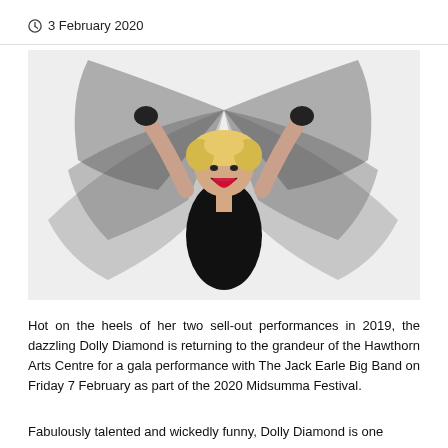3 February 2020
[Figure (photo): Performer Dolly Diamond in a black sequined outfit holding up large black sheer fabric wings against a white background, smiling with mouth open, blonde curly hair.]
Hot on the heels of her two sell-out performances in 2019, the dazzling Dolly Diamond is returning to the grandeur of the Hawthorn Arts Centre for a gala performance with The Jack Earle Big Band on Friday 7 February as part of the 2020 Midsumma Festival.
Fabulously talented and wickedly funny, Dolly Diamond is one